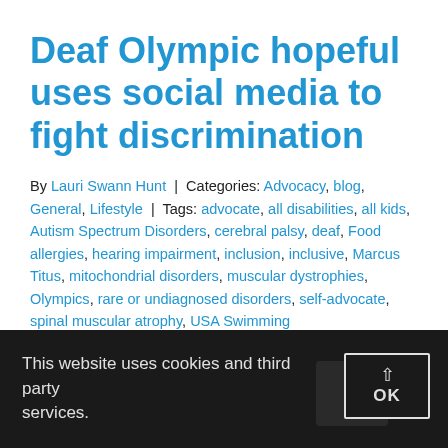Deaf Olympic hopeful uses social media to fight discrimination
By Lauri Swann Hunt | Categories: Advocacy, blog, General, Lifestyle | Tags: advocate, all disabilities, all kids, Autism Spectrum Disorders, cerebral palsy, deaf, Food allergies, hearing impairment, inclusion, inclusive, Marcus Titus, mitochondrial disorders, muscular dystrophies, Olympics, rare or undiagnosed disorders, self-advocate, spinal muscular atrophy, USA Swimming
This website uses cookies and third party services.